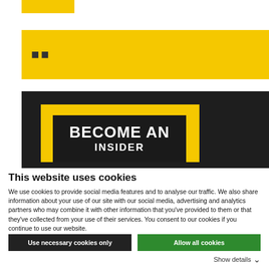[Figure (logo): Yellow rectangular logo bar at top left]
[Figure (illustration): Yellow banner with two small icon squares on the left side]
[Figure (illustration): Dark background promo image with yellow and dark nested rectangles showing text BECOME AN INSIDER (partially visible)]
This website uses cookies
We use cookies to provide social media features and to analyse our traffic. We also share information about your use of our site with our social media, advertising and analytics partners who may combine it with other information that you've provided to them or that they've collected from your use of their services. You consent to our cookies if you continue to use our website.
Use necessary cookies only
Allow all cookies
Show details